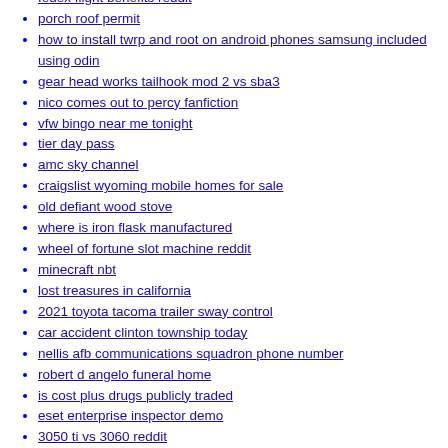fedex flight benefits reddit
porch roof permit
how to install twrp and root on android phones samsung included using odin
gear head works tailhook mod 2 vs sba3
nico comes out to percy fanfiction
vfw bingo near me tonight
tier day pass
amc sky channel
craigslist wyoming mobile homes for sale
old defiant wood stove
where is iron flask manufactured
wheel of fortune slot machine reddit
minecraft nbt
lost treasures in california
2021 toyota tacoma trailer sway control
car accident clinton township today
nellis afb communications squadron phone number
robert d angelo funeral home
is cost plus drugs publicly traded
eset enterprise inspector demo
3050 ti vs 3060 reddit
deloitte manager signing bonus
gallantmon x antibody deck
adding a slide out to a van
2022 suzuki hayabusa top speed